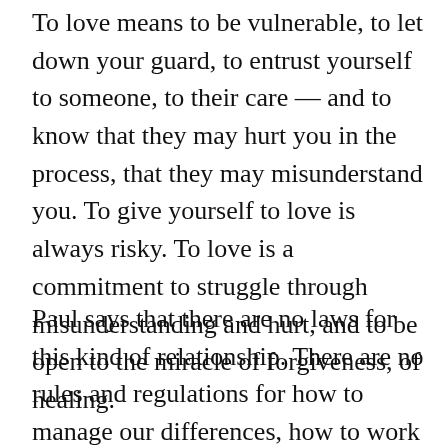To love means to be vulnerable, to let down your guard, to entrust yourself to someone, to their care — and to know that they may hurt you in the process, that they may misunderstand you. To give yourself to love is always risky. To love is a commitment to struggle through misunderstanding and hurt, and to be open to the miracle of forgiveness, of healing.
Paul says that there are no laws for this kind of relationship. There are no rules and regulations for how to manage our differences, how to work through our relationships. There is no judge who we can appeal to, to solve the problems we may have with one another. There is no law, there is